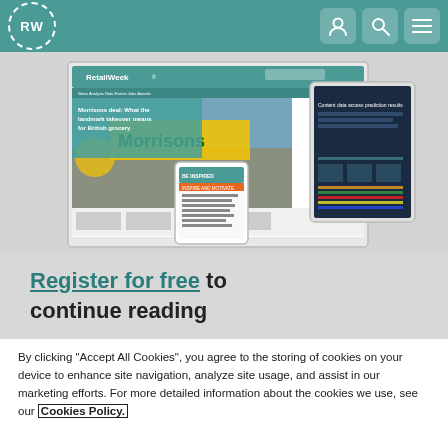RW
[Figure (screenshot): Screenshot of Retail Week website shown on laptop, tablet, and smartphone devices. The laptop shows the Retail Week homepage with a headline 'Morrisons deal: What the landmark takeover means for British grocery' with a Morrisons store image. A tablet shows a dark tech-themed page. A smartphone shows a 'BE INSPIRED' article page.]
Register for free to continue reading
By clicking “Accept All Cookies”, you agree to the storing of cookies on your device to enhance site navigation, analyze site usage, and assist in our marketing efforts. For more detailed information about the cookies we use, see our Cookies Policy.